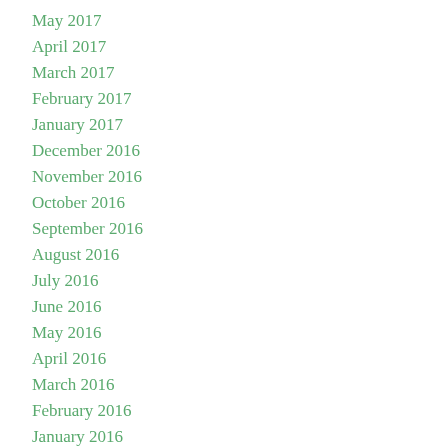May 2017
April 2017
March 2017
February 2017
January 2017
December 2016
November 2016
October 2016
September 2016
August 2016
July 2016
June 2016
May 2016
April 2016
March 2016
February 2016
January 2016
December 2015